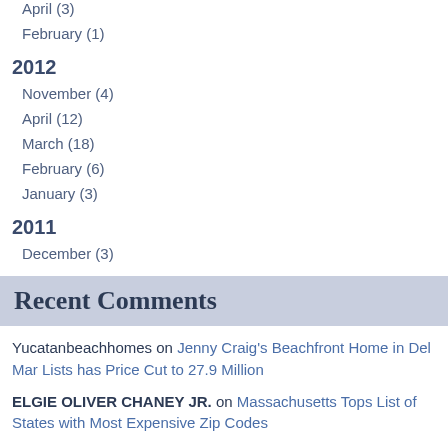April (3)
February (1)
2012
November (4)
April (12)
March (18)
February (6)
January (3)
2011
December (3)
Recent Comments
Yucatanbeachhomes on Jenny Craig's Beachfront Home in Del Mar Lists has Price Cut to 27.9 Million
ELGIE OLIVER CHANEY JR. on Massachusetts Tops List of States with Most Expensive Zip Codes
DanielRic on 10 Incredible Restaurant Patios and Outdoor Dining on Cape Cod